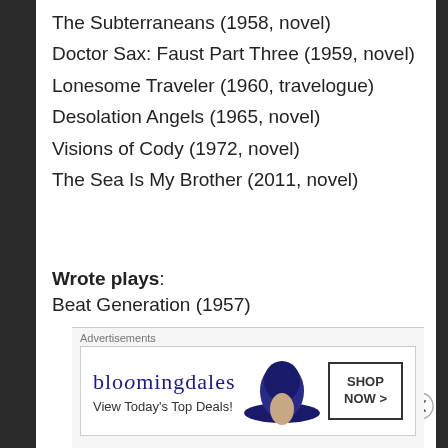The Subterraneans (1958, novel)
Doctor Sax: Faust Part Three (1959, novel)
Lonesome Traveler (1960, travelogue)
Desolation Angels (1965, novel)
Visions of Cody (1972, novel)
The Sea Is My Brother (2011, novel)
Wrote plays:
Beat Generation (1957)
Source: Jack Kerouac
Source: Jack Kerouac – Wikipedia
Advertisements
[Figure (other): Bloomingdale's advertisement banner with logo, hat image, and Shop Now button]